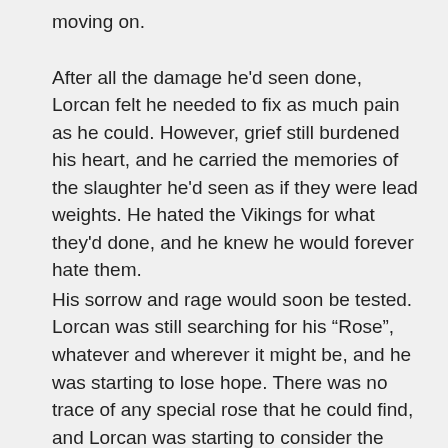moving on.
After all the damage he'd seen done, Lorcan felt he needed to fix as much pain as he could. However, grief still burdened his heart, and he carried the memories of the slaughter he'd seen as if they were lead weights. He hated the Vikings for what they'd done, and he knew he would forever hate them.
His sorrow and rage would soon be tested. Lorcan was still searching for his “Rose”, whatever and wherever it might be, and he was starting to lose hope. There was no trace of any special rose that he could find, and Lorcan was starting to consider the possibility that his “vision” had been a hallucination.
He came to a small settlement that was clearly a